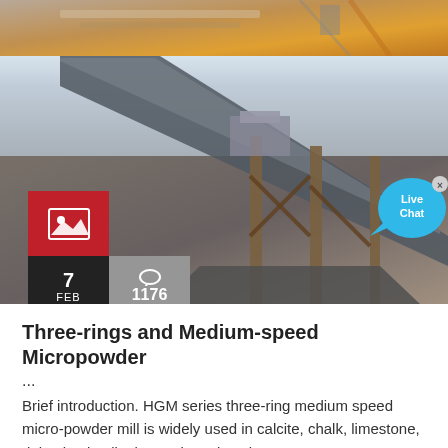[Figure (photo): Top portion of industrial mining/crushing equipment with conveyor belts, orange metallic structures, photographed from above]
[Figure (photo): Industrial conveyor belt and crushing/screening plant equipment on site, with workers visible in background. Overlaid with red image-icon box, dark date box showing 7 FEB, grey comments box showing 1176, and a Live Chat bubble in cyan on the right side.]
Three-rings and Medium-speed Micropowder ...
Brief introduction. HGM series three-ring medium speed micro-powder mill is widely used in calcite, chalk, limestone, dolomite, kaolin, bentonite, talc, mica,